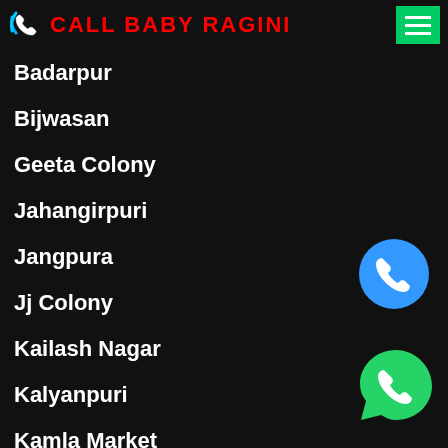CALL BABY RAGINI
Badarpur
Bijwasan
Geeta Colony
Jahangirpuri
Jangpura
Jj Colony
Kailash Nagar
Kalyanpuri
Kamla Market
Vasundhara
Karol Bagh
Moti Bagh
[Figure (illustration): Blue circular phone call button icon]
[Figure (illustration): Green WhatsApp icon]